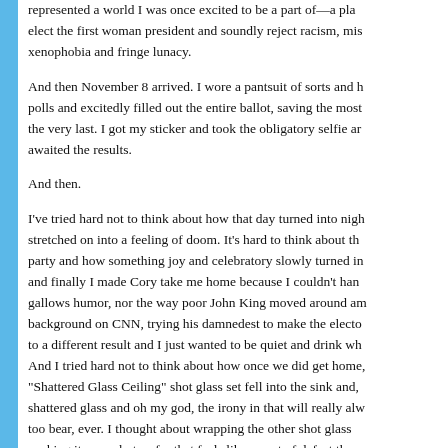represented a world I was once excited to be a part of—a pla elect the first woman president and soundly reject racism, mis xenophobia and fringe lunacy.
And then November 8 arrived. I wore a pantsuit of sorts and h polls and excitedly filled out the entire ballot, saving the most the very last. I got my sticker and took the obligatory selfie an awaited the results.
And then.
I've tried hard not to think about how that day turned into nigh stretched on into a feeling of doom. It's hard to think about th party and how something joy and celebratory slowly turned in and finally I made Cory take me home because I couldn't han gallows humor, nor the way poor John King moved around am background on CNN, trying his damnedest to make the electo to a different result and I just wanted to be quiet and drink wh And I tried hard not to think about how once we did get home "Shattered Glass Ceiling" shot glass set fell into the sink and, shattered glass and oh my god, the irony in that will really alw too bear, ever. I thought about wrapping the other shot glass packing it away, but so far that feels like an act of defeat tha